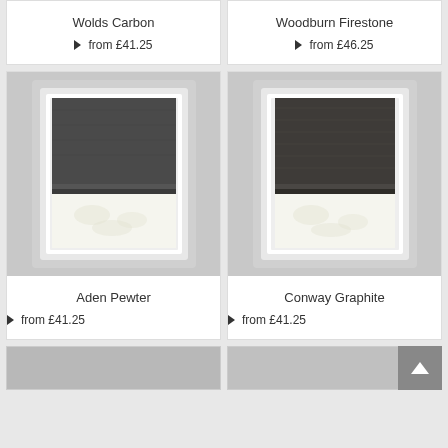Wolds Carbon
▶ from £41.25
Woodburn Firestone
▶ from £46.25
[Figure (photo): Roman blind in dark charcoal/pewter fabric, shown in a white window frame, partially raised]
Aden Pewter
▶ from £41.25
[Figure (photo): Roman blind in dark graphite fabric with subtle texture, shown in a white window frame, partially raised]
Conway Graphite
▶ from £41.25